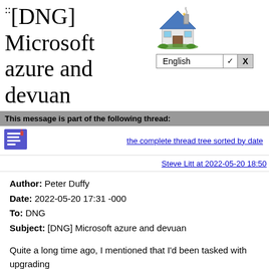::[DNG] Microsoft azure and devuan
[Figure (illustration): Home icon - cartoon house with blue roof and green grass]
English ∨ X (language selector dropdown)
This message is part of the following thread:
[Figure (illustration): Message/document icon in blue square]
the complete thread tree sorted by date
Steve Litt at 2022-05-20 18:50
Author: Peter Duffy
Date: 2022-05-20 17:31 -000
To: DNG
Subject: [DNG] Microsoft azure and devuan
Quite a long time ago, I mentioned that I'd been tasked with upgrading
some linux VMs running under Microsoft Azure, and had decided to try to
use devuan. I then found that devuan wouldn't work under